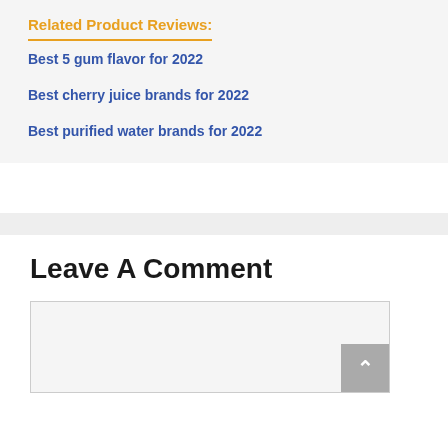Related Product Reviews:
Best 5 gum flavor for 2022
Best cherry juice brands for 2022
Best purified water brands for 2022
Leave A Comment